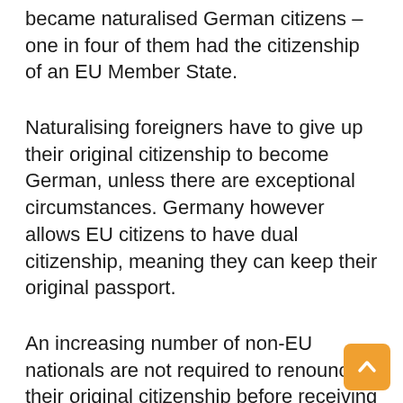became naturalised German citizens – one in four of them had the citizenship of an EU Member State.
Naturalising foreigners have to give up their original citizenship to become German, unless there are exceptional circumstances. Germany however allows EU citizens to have dual citizenship, meaning they can keep their original passport.
An increasing number of non-EU nationals are not required to renounce their original citizenship before receiving a German passport. This is partly because some countries prohibit or make it difficult for their nationals to give up their citizenship when taking up a new one.
For example, naturalising Germans from